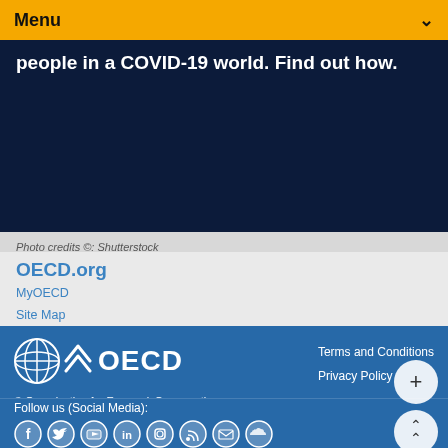Menu
people in a COVID-19 world. Find out how.
Photo credits ©: Shutterstock
OECD.org
MyOECD
Site Map
Contact Us
[Figure (logo): OECD logo with globe icon and OECD text in white on dark blue background]
Terms and Conditions
Privacy Policy
© Organisation for EconomicCo-operation and Development
Follow us (Social Media):
[Figure (infographic): Social media icons: Facebook, Twitter, YouTube, LinkedIn, Instagram, RSS, Email/download, SoundCloud]